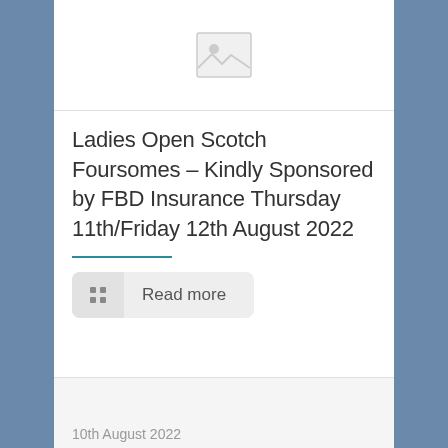[Figure (other): Image placeholder with mountain/image icon, white background]
Ladies Open Scotch Foursomes – Kindly Sponsored by FBD Insurance Thursday 11th/Friday 12th August 2022
Read more
10th August 2022